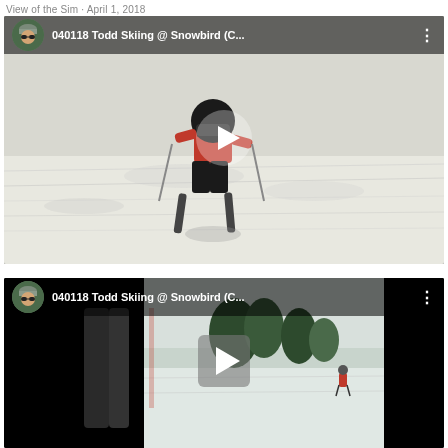View of the Sim · April 1, 2018
[Figure (screenshot): YouTube video thumbnail showing a child skiing on a snowy slope wearing a black helmet and red outfit. Video title: '040118 Todd Skiing @ Snowbird (C...' with a play button overlay and user avatar.]
[Figure (screenshot): YouTube video thumbnail showing skiers on a snowy slope with trees in background. Video title: '040118 Todd Skiing @ Snowbird (C...' with a play button overlay and user avatar. Left portion is black.]